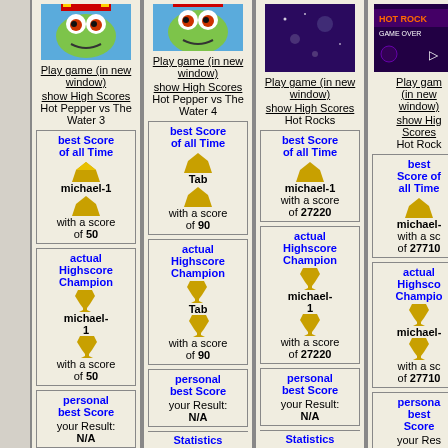[Figure (screenshot): Game thumbnail for Hot Pepper vs The Water 3 - cartoon frog character]
Play game (in new window)
show High Scores
Hot Pepper vs The Water 3
best Score of all Time
michael-1
with a score of 50
actual Highscore Champion
michael-1
with a score of 50
personal best Score
your Result: N/A
[Figure (screenshot): Game thumbnail for Hot Pepper vs The Water 4 - cartoon frog character]
Play game (in new window)
show High Scores
Hot Pepper vs The Water 4
best Score of all Time
Tab
with a score of 90
actual Highscore Champion
Tab
with a score of 90
personal best Score
your Result: N/A
Statistics
[Figure (screenshot): Game thumbnail for Hot Rocks - purple space background]
Play game (in new window)
show High Scores
Hot Rocks
best Score of all Time
michael-1
with a score of 27220
actual Highscore Champion
michael-1
with a score of 27220
personal best Score
your Result: N/A
Statistics
Times
[Figure (screenshot): Game thumbnail for Hot Rocks - HOT ROCK GAME OVER text visible]
Play game (in new window)
show High Scores
Hot Rocks
best Score of all Time
michael-
with a score of 27710
actual Highscore Champion
michael-
with a score of 27710
personal best Score
your Result: N/A